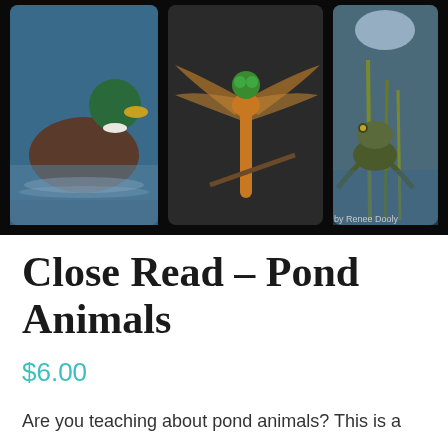[Figure (photo): Product cover image collage showing three pond animal photos (a mallard duck, a dragonfly close-up, and a frog near water with reeds) arranged side by side on a black background. Text 'by Renee Dooly' appears in the bottom right corner.]
Close Read – Pond Animals
$6.00
Are you teaching about pond animals?  This is a